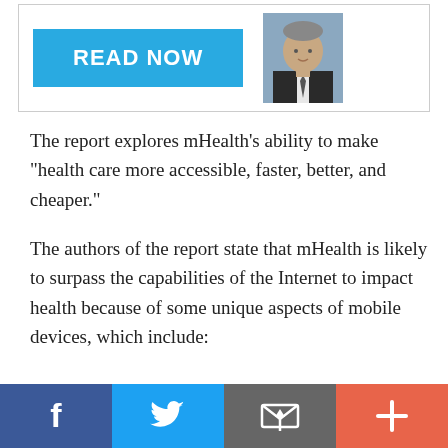[Figure (other): Banner with a blue READ NOW button on the left and a photo of a man in a suit on the right]
The report explores mHealth’s ability to make “health care more accessible, faster, better, and cheaper.”
The authors of the report state that mHealth is likely to surpass the capabilities of the Internet to impact health because of some unique aspects of mobile devices, which include:
ADVERTISEMENT
[Figure (other): Social media sharing bar with Facebook, Twitter, Email, and More (+) buttons]